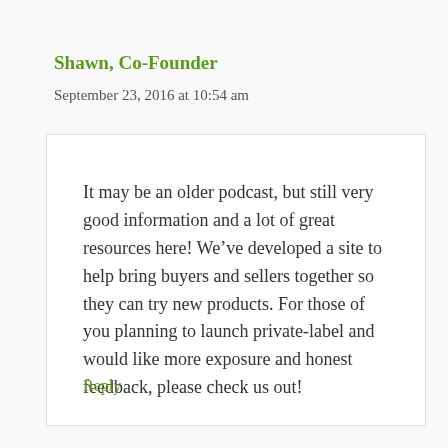Shawn, Co-Founder
September 23, 2016 at 10:54 am
It may be an older podcast, but still very good information and a lot of great resources here! We’ve developed a site to help bring buyers and sellers together so they can try new products. For those of you planning to launch private-label and would like more exposure and honest feedback, please check us out!
Reply